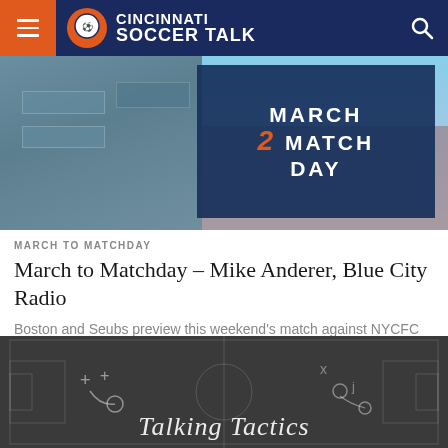Cincinnati Soccer Talk
[Figure (photo): March to Matchday hero image showing a building with 'MARCH 2 MATCH DAY' sign and crowd]
MARCH TO MATCHDAY
March to Matchday – Mike Anderer, Blue City Radio
Boston and Seubs preview this weekend's match against NYCFC with Mike Anderer from the Blue City Radio podcast.
[Figure (photo): Talking Tactics image showing a chalkboard football tactics diagram with 'Talking Tactics' text]